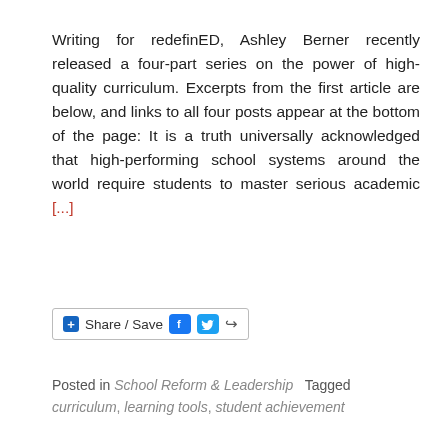Writing for redefinED, Ashley Berner recently released a four-part series on the power of high-quality curriculum. Excerpts from the first article are below, and links to all four posts appear at the bottom of the page: It is a truth universally acknowledged that high-performing school systems around the world require students to master serious academic [...]
[Figure (other): Share / Save button bar with Facebook, Twitter, and share icons]
Posted in School Reform & Leadership   Tagged curriculum, learning tools, student achievement
[Figure (logo): The Learn logo — circular arrow icon on the left, THE LEARN text on the right in bold black sans-serif]